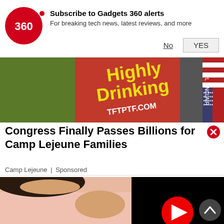[Figure (logo): Gadgets 360 logo — red circle with '360' text in white]
Subscribe to Gadgets 360 alerts
For breaking tech news, latest reviews, and more
No   YES
[Figure (photo): Red sign reading 'Highly Drinking TFTPTF.COM' alongside political yard signs and American flag, outdoor scene]
Congress Finally Passes Billions for Camp Lejeune Families
Camp Lejeune | Sponsored
[Figure (photo): Person wearing pink shirt placing hand on chest, close-up]
[Figure (screenshot): Black video player with red play button]
[Figure (other): Grey circular scroll-up arrow button]